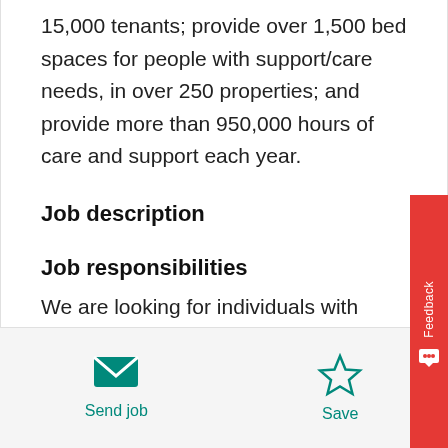15,000 tenants; provide over 1,500 bed spaces for people with support/care needs, in over 250 properties; and provide more than 950,000 hours of care and support each year.
Job description
Job responsibilities
We are looking for individuals with previous experience of working with Young People and who have an understanding of childhood trauma and it's